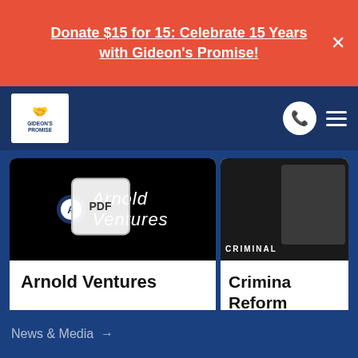Donate $15 for 15: Celebrate 15 Years with Gideon's Promise!
[Figure (logo): Gideon's Promise logo with handshake icon in white box on dark navy navigation bar]
[Figure (screenshot): Arnold Ventures card with logo on black background and PDF overlay icon]
Arnold Ventures
[Figure (screenshot): Partially visible card showing a person on video with CRIMINAL label text]
Crimina... Reform...
News & Media →